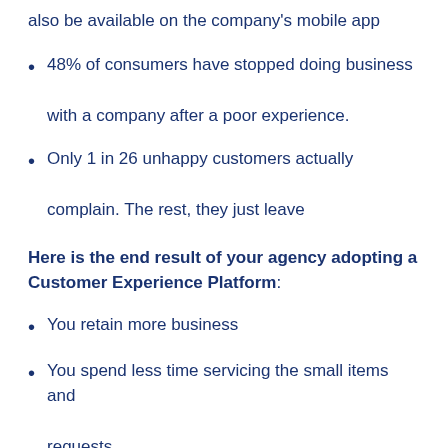also be available on the company's mobile app
48% of consumers have stopped doing business with a company after a poor experience.
Only 1 in 26 unhappy customers actually complain. The rest, they just leave
Here is the end result of your agency adopting a Customer Experience Platform:
You retain more business
You spend less time servicing the small items and requests
You spend more time on the income-generating activities and higher-level conversations your